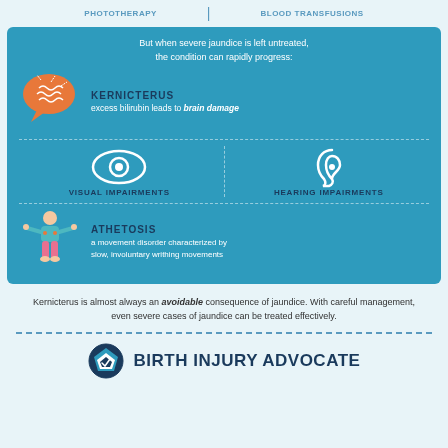PHOTOTHERAPY | BLOOD TRANSFUSIONS
[Figure (infographic): Medical infographic on a teal/blue background showing consequences of untreated severe jaundice. Includes icons and text for: Kernicterus (brain icon, excess bilirubin leads to brain damage), Visual Impairments (eye icon), Hearing Impairments (ear icon), and Athetosis (figure icon, a movement disorder characterized by slow, involuntary writhing movements).]
Kernicterus is almost always an avoidable consequence of jaundice. With careful management, even severe cases of jaundice can be treated effectively.
[Figure (logo): Birth Injury Advocate logo with shield icon and text BIRTH INJURY ADVOCATE]